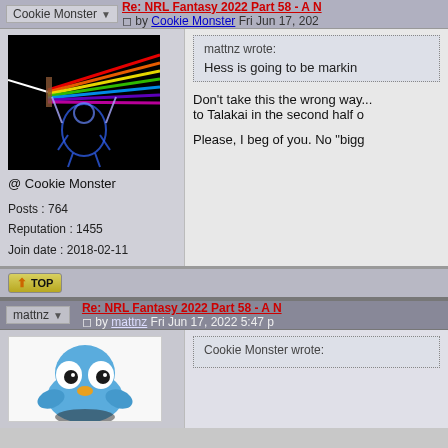Cookie Monster | Re: NRL Fantasy 2022 Part 58 - A N... by Cookie Monster Fri Jun 17, 202...
[Figure (photo): Dark background photo showing a prism splitting light into rainbow spectrum (Pink Floyd / Dark Side of the Moon style artwork), with blue wireframe figure]
@ Cookie Monster
Posts : 764
Reputation : 1455
Join date : 2018-02-11
mattnz wrote:
Hess is going to be markin...
Don't take this the wrong way... to Talakai in the second half o...
Please, I beg of you. No "bigg...
mattnz | Re: NRL Fantasy 2022 Part 58 - A N... by mattnz Fri Jun 17, 2022 5:47 p...
[Figure (illustration): Blue cartoon bird/creature character with large eyes]
Cookie Monster wrote: